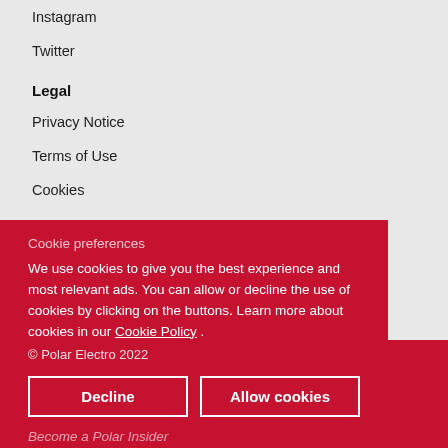Instagram
Twitter
Legal
Privacy Notice
Terms of Use
Cookies
Cookie preferences

We use cookies to give you the best experience and most relevant ads. You can allow or decline the use of cookies by clicking on the buttons. Learn more about cookies in our Cookie Policy.
© Polar Electro 2022
Privacy FAQ
Regulatory Information
Become a Polar Insider
Be among the first to hear about exclusive offers,